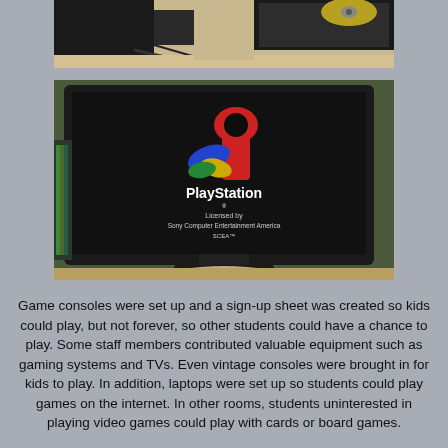[Figure (photo): Partial top photo showing game consoles and equipment on a desk, cropped at top of page]
[Figure (photo): A monitor or TV screen displaying the PlayStation logo and branding screen, with the Sony Computer Entertainment America license text, set on a desk in what appears to be a library or classroom]
Game consoles were set up and a sign-up sheet was created so kids could play, but not forever, so other students could have a chance to play. Some staff members contributed valuable equipment such as gaming systems and TVs. Even vintage consoles were brought in for kids to play. In addition, laptops were set up so students could play games on the internet. In other rooms, students uninterested in playing video games could play with cards or board games.